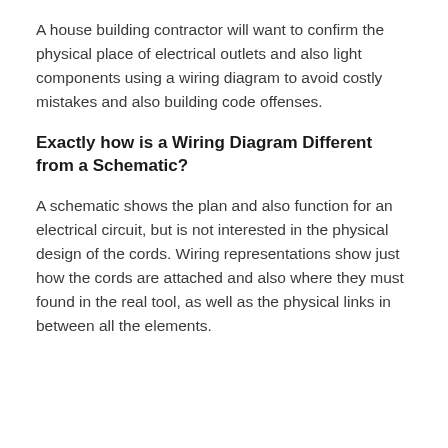A house building contractor will want to confirm the physical place of electrical outlets and also light components using a wiring diagram to avoid costly mistakes and also building code offenses.
Exactly how is a Wiring Diagram Different from a Schematic?
A schematic shows the plan and also function for an electrical circuit, but is not interested in the physical design of the cords. Wiring representations show just how the cords are attached and also where they must found in the real tool, as well as the physical links in between all the elements.